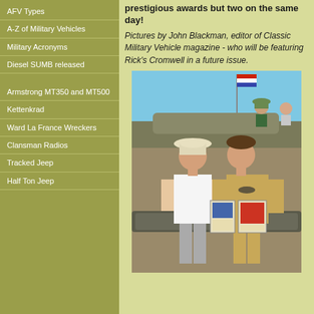AFV Types
A-Z of Military Vehicles
Military Acronyms
Diesel SUMB released
Armstrong MT350 and MT500
Kettenkrad
Ward La France Wreckers
Clansman Radios
Tracked Jeep
Half Ton Jeep
prestigious awards but two on the same day!
Pictures by John Blackman, editor of Classic Military Vehicle magazine - who will be featuring Rick's Cromwell in a future issue.
[Figure (photo): Two men standing in front of a military tank. The man on the left wears a white polo shirt and white hat. The man on the right wears khaki military-style clothing and holds two award plaques. In the background, a person in military hat is visible on top of the tank, and a flag is visible. The sky is clear blue.]